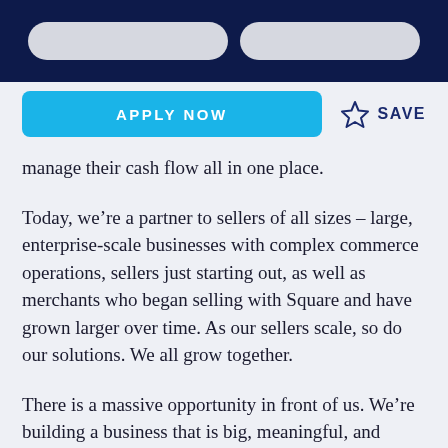manage their cash flow all in one place.
Today, we’re a partner to sellers of all sizes – large, enterprise-scale businesses with complex commerce operations, sellers just starting out, as well as merchants who began selling with Square and have grown larger over time. As our sellers scale, so do our solutions. We all grow together.
There is a massive opportunity in front of us. We’re building a business that is big, meaningful, and lasting. And we are helping sellers around the world do the same.